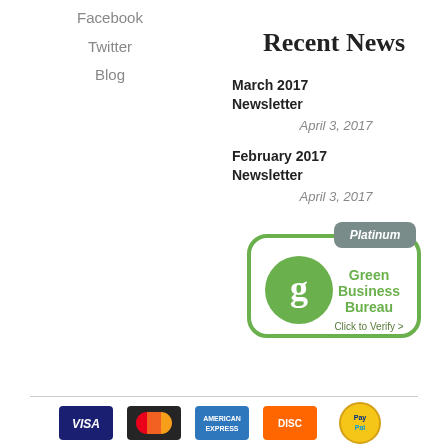Facebook
Twitter
Blog
Recent News
March 2017 Newsletter
April 3, 2017
February 2017 Newsletter
April 3, 2017
[Figure (logo): Platinum Green Business Bureau badge with gbb logo and Click to Verify text]
[Figure (logo): Payment method icons: credit cards and PayPal badge at bottom footer]